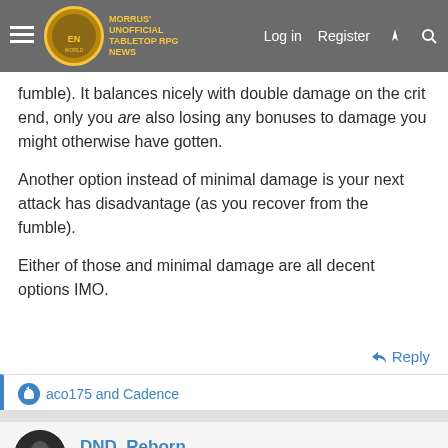Morrus' Unofficial Tabletop RPG News — Log in | Register
fumble). It balances nicely with double damage on the crit end, only you are also losing any bonuses to damage you might otherwise have gotten.
Another option instead of minimal damage is your next attack has disadvantage (as you recover from the fumble).
Either of those and minimal damage are all decent options IMO.
Reply
aco175 and Cadence
DND_Reborn
Legend